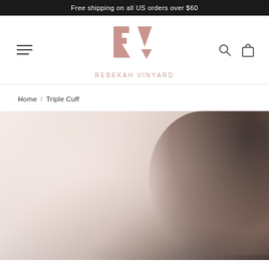Free shipping on all US orders over $60
[Figure (logo): Rebekah Vinyard logo — stylized RV monogram in mauve/rose, with text REBEKAH VINYARD below]
Home / Triple Cuff
[Figure (photo): Product photo: woman wearing Triple Cuff jewelry, warm light background, dark curly hair visible on right side]